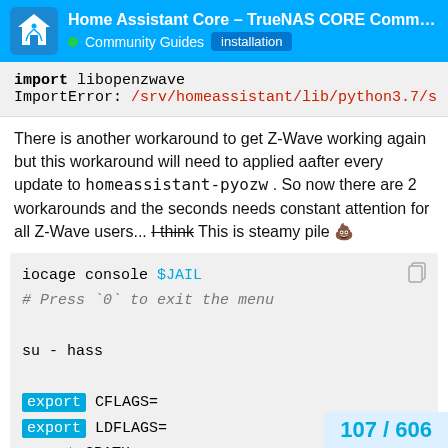Home Assistant Core – TrueNAS CORE Commu... | Community Guides | installation
import libopenzwave
ImportError: /srv/homeassistant/lib/python3.7/s
There is another workaround to get Z-Wave working again but this workaround will need to applied aafter every update to homeassistant-pyozw . So now there are 2 workarounds and the seconds needs constant attention for all Z-Wave users... I think This is steamy pile 💩
iocage console $JAIL
# Press `0` to exit the menu

su - hass

export CFLAGS=
export LDFLAGS=
export CPATH=
export LIBRARY_PATH=
107 / 606